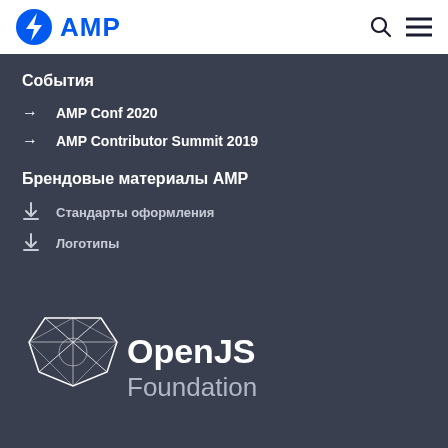AMP
События
AMP Conf 2020
AMP Contributor Summit 2019
Брендовые материалы AMP
Стандарты оформления
Логотипы
[Figure (logo): OpenJS Foundation logo — geometric diamond shape outline with OpenJS Foundation text in white]